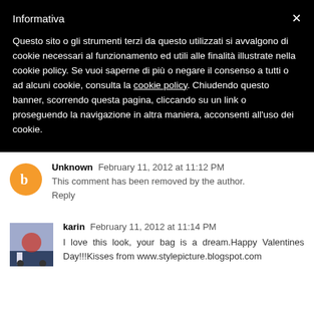Informativa
Questo sito o gli strumenti terzi da questo utilizzati si avvalgono di cookie necessari al funzionamento ed utili alle finalità illustrate nella cookie policy. Se vuoi saperne di più o negare il consenso a tutti o ad alcuni cookie, consulta la cookie policy.
Chiudendo questo banner, scorrendo questa pagina, cliccando su un link o proseguendo la navigazione in altra maniera, acconsenti all'uso dei cookie.
Unknown  February 11, 2012 at 11:12 PM
This comment has been removed by the author.
Reply
karin  February 11, 2012 at 11:14 PM
I love this look, your bag is a dream.Happy Valentines Day!!!Kisses from www.stylepicture.blogspot.com